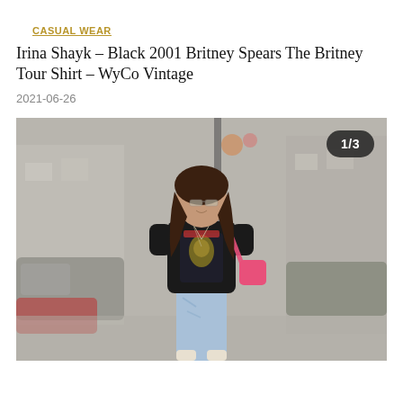CASUAL WEAR
Irina Shayk – Black 2001 Britney Spears The Britney Tour Shirt – WyCo Vintage
2021-06-26
[Figure (photo): Irina Shayk walking on a city street wearing a black Britney Spears 2001 tour graphic t-shirt, light blue distressed jeans, and carrying a pink crossbody bag. She has long brown hair and small oval sunglasses. The background shows a blurred urban street scene with cars and buildings. A badge in the top right reads 1/3.]